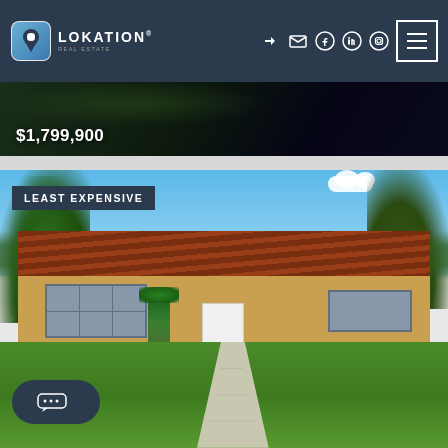[Figure (screenshot): Lokation Real Estate website header with dark navy background, logo on left (icon with map pin and company name LOKATION REAL ESTATE), social media icons and hamburger menu on right]
[Figure (photo): Partially visible property listing showing dark image with price tag $1,799,900]
$1,799,900
[Figure (photo): Property listing photo of a single-story house with Spanish tile roof, yellow stucco exterior, white door, palm trees, green lawn, blue sky with clouds. Tagged as LEAST EXPENSIVE listing.]
LEAST EXPENSIVE